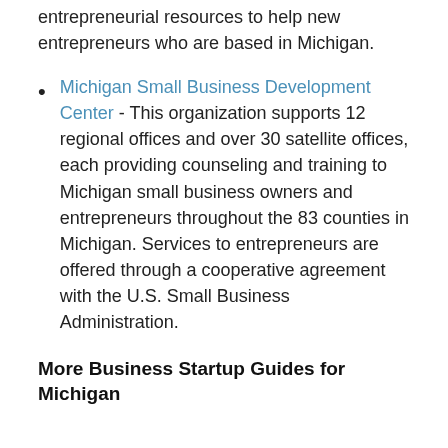entrepreneurial resources to help new entrepreneurs who are based in Michigan.
Michigan Small Business Development Center - This organization supports 12 regional offices and over 30 satellite offices, each providing counseling and training to Michigan small business owners and entrepreneurs throughout the 83 counties in Michigan. Services to entrepreneurs are offered through a cooperative agreement with the U.S. Small Business Administration.
More Business Startup Guides for Michigan